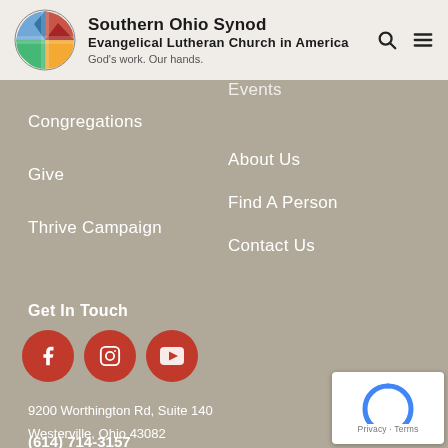Southern Ohio Synod Evangelical Lutheran Church in America God's work. Our hands.
Events
Congregations
About Us
Give
Find A Person
Thrive Campaign
Contact Us
Get In Touch
[Figure (logo): Social media icons: Facebook, Instagram, YouTube]
9200 Worthington Rd, Suite 140
Westerville, Ohio 43082
(614) 714-3157
[Figure (other): reCAPTCHA badge with Privacy and Terms links]